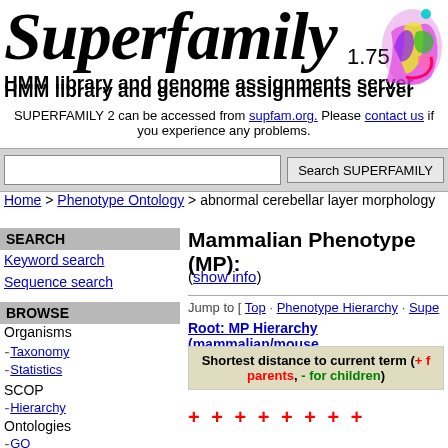Superfamily 1.75
[Figure (illustration): Colorful protein structure illustration (3D ribbon diagram in purple, yellow, green, pink colors)]
HMM library and genome assignments server
SUPERFAMILY 2 can be accessed from supfam.org. Please contact us if you experience any problems.
Search SUPERFAMILY (search bar with input field and button)
Home > Phenotype Ontology > abnormal cerebellar layer morphology
SEARCH
Keyword search
Sequence search
BROWSE
Organisms
Taxonomy
Statistics
SCOP
Hierarchy
Ontologies
GO
Mammalian Phenotype (MP):
(show info)
Jump to [ Top · Phenotype Hierarchy · Supe…
Root: MP Hierarchy (mammalian/mouse…
Shortest distance to current term (+ for parents, - for children)
+ + + + + + + +